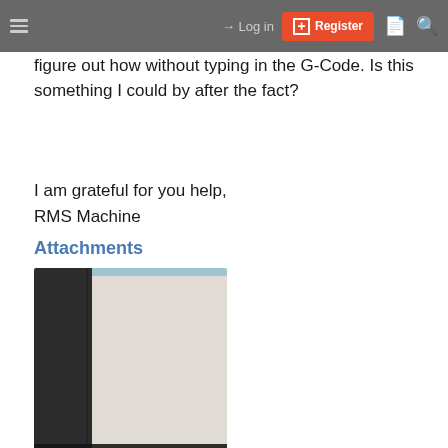Log in | Register
figure out how without typing in the G-Code. Is this something I could by after the fact?
I am grateful for you help,
RMS Machine
Attachments
[Figure (photo): Thumbnail photo of a screen or document, dark panel on the left and a light beige/grey area on the right, with a thin blue bar at the top. Filename: IMG_0296[1].jpg shown in caption bar at bottom.]